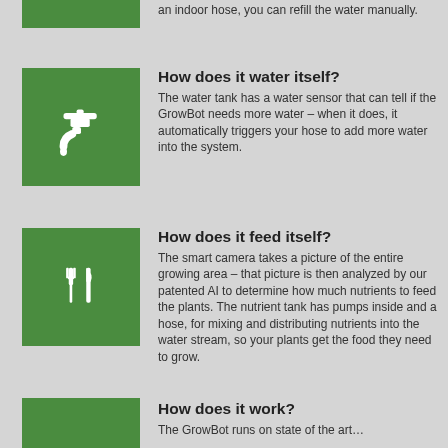an indoor hose, you can refill the water manually.
How does it water itself?
The water tank has a water sensor that can tell if the GrowBot needs more water – when it does, it automatically triggers your hose to add more water into the system.
[Figure (illustration): Green square icon with white faucet/tap silhouette]
How does it feed itself?
The smart camera takes a picture of the entire growing area – that picture is then analyzed by our patented AI to determine how much nutrients to feed the plants. The nutrient tank has pumps inside and a hose, for mixing and distributing nutrients into the water stream, so your plants get the food they need to grow.
[Figure (illustration): Green square icon with white fork and knife silhouette]
How does it work?
The GrowBot runs on state of the art…